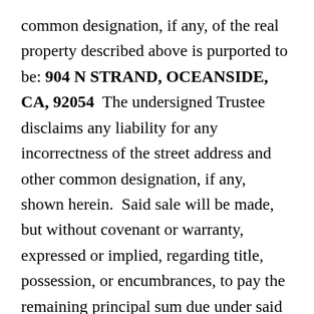common designation, if any, of the real property described above is purported to be: 904 N STRAND, OCEANSIDE, CA, 92054  The undersigned Trustee disclaims any liability for any incorrectness of the street address and other common designation, if any, shown herein.  Said sale will be made, but without covenant or warranty, expressed or implied, regarding title, possession, or encumbrances, to pay the remaining principal sum due under said Notice of Delinquent Assessment, with interest thereon, as provided in said notice, advances, if any, estimated fees, charges and expenses of the Trustee.  Estimated amount with accrued interest and additional